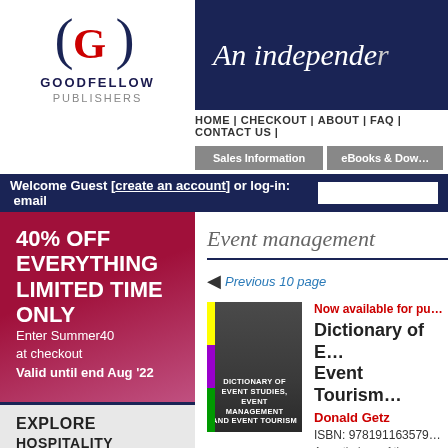[Figure (logo): Goodfellow Publishers logo with stylized G in parentheses]
An independent (publisher banner)
HOME | CHECKOUT | ABOUT | FAQ | CONTACT US |
Sales Information | eBooks & Downloads
Welcome Guest [create an account] or log-in:  email
40% OFF EVERYTHING LIMITED TIME ONLY Enter Summer40 at checkout Valid until end Aug '22
EXPLORE HOSPITALITY
Event management
Previous 10 page
Now available for purchase
Dictionary of Event Studies, Event Tourism and Event Tourism
Donald Getz
ISBN: 9781911635796
An anthology of the...